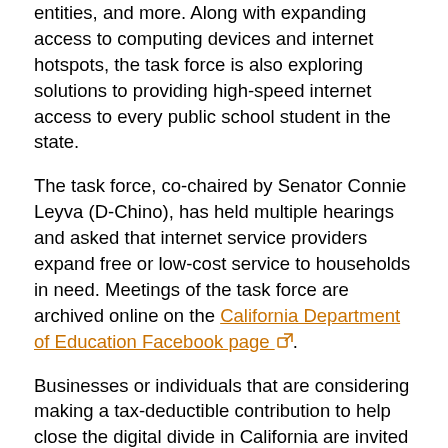entities, and more. Along with expanding access to computing devices and internet hotspots, the task force is also exploring solutions to providing high-speed internet access to every public school student in the state.
The task force, co-chaired by Senator Connie Leyva (D-Chino), has held multiple hearings and asked that internet service providers expand free or low-cost service to households in need. Meetings of the task force are archived online on the California Department of Education Facebook page.
Businesses or individuals that are considering making a tax-deductible contribution to help close the digital divide in California are invited to email donatetech@cde.ca.gov.
# # # #
Tony Thurmond — State Superintendent of Public Instruction
Communications Division, Room 5602, 916-319-0818,